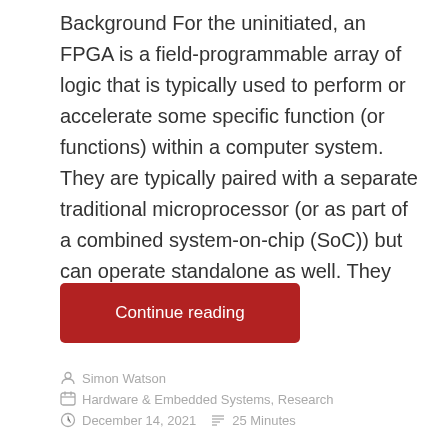Background For the uninitiated, an FPGA is a field-programmable array of logic that is typically used to perform or accelerate some specific function (or functions) within a computer system. They are typically paired with a separate traditional microprocessor (or as part of a combined system-on-chip (SoC)) but can operate standalone as well. They can be …
Continue reading
Simon Watson
Hardware & Embedded Systems, Research
December 14, 2021   25 Minutes